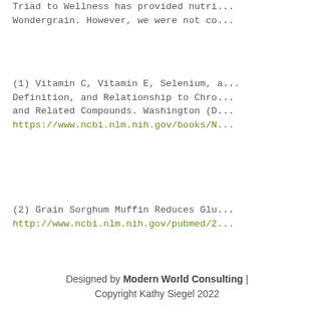Triad to Wellness has provided nutri... Wondergrain. However, we were not co...
(1) Vitamin C, Vitamin E, Selenium, a... Definition, and Relationship to Chro... and Related Compounds. Washington (D... https://www.ncbi.nlm.nih.gov/books/N...
(2) Grain Sorghum Muffin Reduces Glu... http://www.ncbi.nlm.nih.gov/pubmed/2...
Designed by Modern World Consulting | Copyright Kathy Siegel 2022